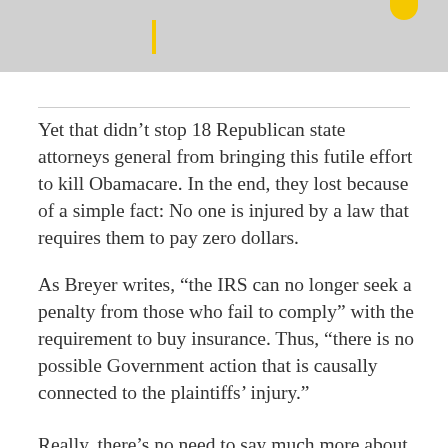[Figure (illustration): Partial illustration with gray background, yellow vertical bar element on the left and a yellow circle/shape on the upper right corner.]
Yet that didn’t stop 18 Republican state attorneys general from bringing this futile effort to kill Obamacare. In the end, they lost because of a simple fact: No one is injured by a law that requires them to pay zero dollars.
As Breyer writes, “the IRS can no longer seek a penalty from those who fail to comply” with the requirement to buy insurance. Thus, “there is no possible Government action that is causally connected to the plaintiffs’ injury.”
Really, there’s no need to say much more about this